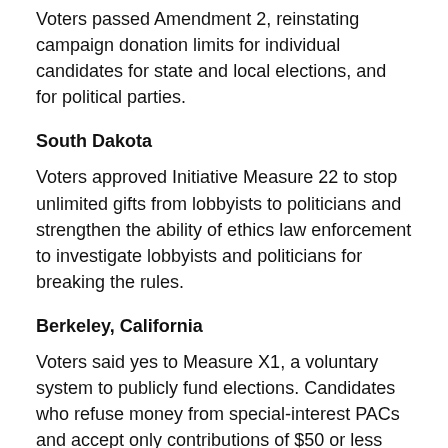Voters passed Amendment 2, reinstating campaign donation limits for individual candidates for state and local elections, and for political parties.
South Dakota
Voters approved Initiative Measure 22 to stop unlimited gifts from lobbyists to politicians and strengthen the ability of ethics law enforcement to investigate lobbyists and politicians for breaking the rules.
Berkeley, California
Voters said yes to Measure X1, a voluntary system to publicly fund elections. Candidates who refuse money from special-interest PACs and accept only contributions of $50 or less receive a limited amount of matching funds.
Multnomah County, Oregon
Voters passed limits on contributions and expenditures and